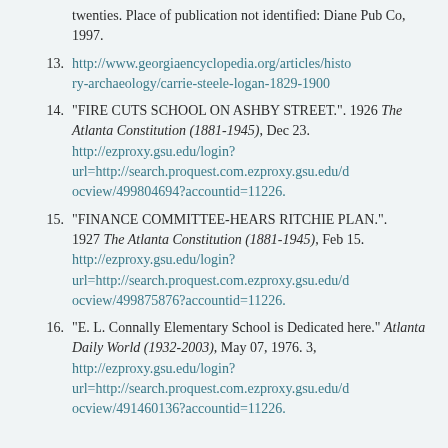twenties. Place of publication not identified: Diane Pub Co, 1997.
13. http://www.georgiaencyclopedia.org/articles/history-archaeology/carrie-steele-logan-1829-1900
14. "FIRE CUTS SCHOOL ON ASHBY STREET.". 1926 The Atlanta Constitution (1881-1945), Dec 23. http://ezproxy.gsu.edu/login?url=http://search.proquest.com.ezproxy.gsu.edu/docview/499804694?accountid=11226.
15. "FINANCE COMMITTEE-HEARS RITCHIE PLAN.". 1927 The Atlanta Constitution (1881-1945), Feb 15. http://ezproxy.gsu.edu/login?url=http://search.proquest.com.ezproxy.gsu.edu/docview/499875876?accountid=11226.
16. "E. L. Connally Elementary School is Dedicated here." Atlanta Daily World (1932-2003), May 07, 1976. 3, http://ezproxy.gsu.edu/login?url=http://search.proquest.com.ezproxy.gsu.edu/docview/491460136?accountid=11226.